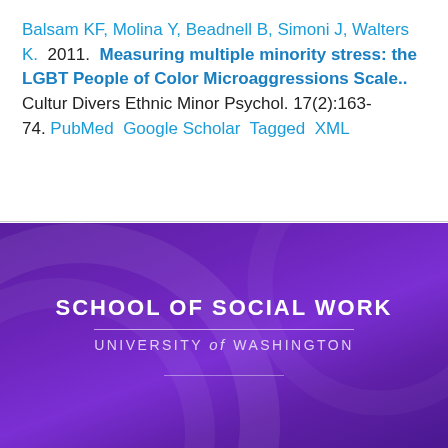Balsam KF, Molina Y, Beadnell B, Simoni J, Walters K.  2011.  Measuring multiple minority stress: the LGBT People of Color Microaggressions Scale..  Cultur Divers Ethnic Minor Psychol. 17(2):163-74. PubMed  Google Scholar  Tagged  XML
[Figure (logo): School of Social Work, University of Washington logo on purple gradient background. White text reads 'SCHOOL OF SOCIAL WORK' in bold uppercase, with 'UNIVERSITY of WASHINGTON' below in smaller uppercase letters, separated by a thin horizontal line.]